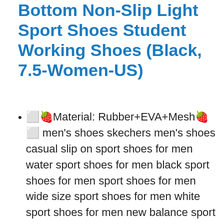Bottom Non-Slip Light Sport Shoes Student Working Shoes (Black, 7.5-Women-US)
🍓Material: Rubber+EVA+Mesh🍓 men's shoes skechers men's shoes casual slip on sport shoes for men water sport shoes for men black sport shoes for men sport shoes for men wide size sport shoes for men white sport shoes for men new balance sport shoes for women water sport shoes for women sport shoes for women skechers sport shoes for women white water sport shoes for women men shoes for women white sport shoes for women